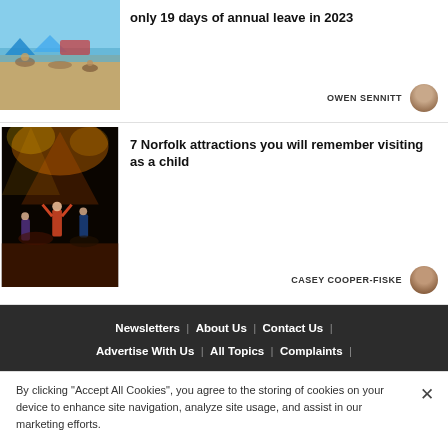only 19 days of annual leave in 2023
OWEN SENNITT
7 Norfolk attractions you will remember visiting as a child
CASEY COOPER-FISKE
Newsletters | About Us | Contact Us | Advertise With Us | All Topics | Complaints |
By clicking "Accept All Cookies", you agree to the storing of cookies on your device to enhance site navigation, analyze site usage, and assist in our marketing efforts.